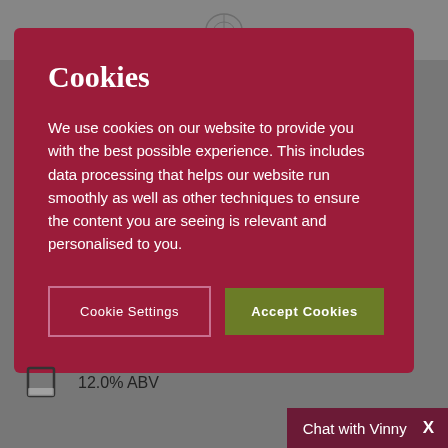[Figure (screenshot): Website header/nav bar with logo (crest), greyed out in background behind cookie modal overlay]
Cookies
We use cookies on our website to provide you with the best possible experience. This includes data processing that helps our website run smoothly as well as other techniques to ensure the content you are seeing is relevant and personalised to you.
Cookie Settings
Accept Cookies
12.0% ABV
Chat with Vinny  X